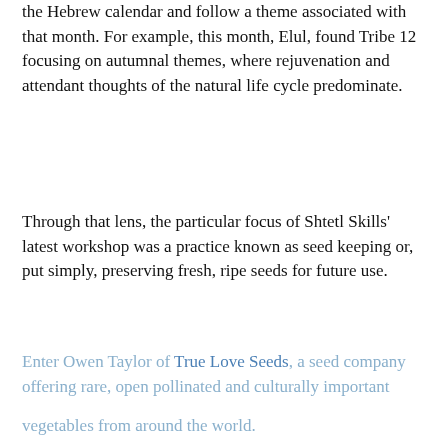the Hebrew calendar and follow a theme associated with that month. For example, this month, Elul, found Tribe 12 focusing on autumnal themes, where rejuvenation and attendant thoughts of the natural life cycle predominate.
Through that lens, the particular focus of Shtetl Skills' latest workshop was a practice known as seed keeping or, put simply, preserving fresh, ripe seeds for future use.
Enter Owen Taylor of True Love Seeds, a seed company offering rare, open pollinated and culturally important vegetables from around the world.
Taylor led the interactive and hands-on workshop, as the extracted ripe seeds for future use from okra, calendula variety of bean pods. One courageous gentleman do...
[Figure (other): Philadelphia Jewish Exponent call-to-action popup overlay with heading 'PHILADELPHIA JEWISH EXPONENT IS HERE FOR YOU', explanatory text about voluntary contributions, and a blue CONTRIBUTE button]